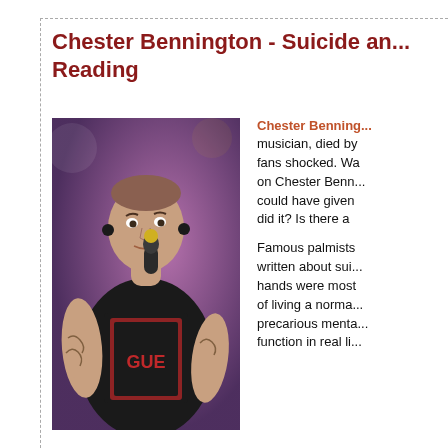Chester Bennington - Suicide and Reading
[Figure (photo): Chester Bennington performing on stage, holding a microphone, wearing a black graphic t-shirt, with tattoos visible on his arms]
Chester Bennington, musician, died by fans shocked. Was on Chester Benn could have given did it? Is there a
Famous palmists written about sui hands were most of living a norma precarious menta function in real li